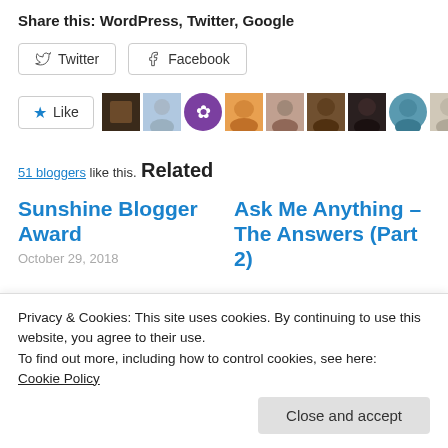Share this: WordPress, Twitter, Google
[Figure (screenshot): Social share buttons: Twitter and Facebook]
[Figure (screenshot): Like button with star icon and 9 user avatar thumbnails]
51 bloggers like this.
Related
Sunshine Blogger Award
October 29, 2018
Ask Me Anything – The Answers (Part 2)
Privacy & Cookies: This site uses cookies. By continuing to use this website, you agree to their use.
To find out more, including how to control cookies, see here: Cookie Policy
In "Blogging, Writing,